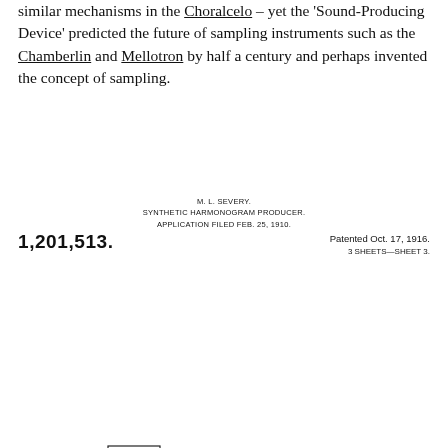similar mechanisms in the Choralcelo – yet the 'Sound-Producing Device' predicted the future of sampling instruments such as the Chamberlin and Mellotron by half a century and perhaps invented the concept of sampling.
[Figure (engineering-diagram): Patent drawing header for M. L. Severy, Synthetic Harmonogram Producer, patent number 1,201,513, application filed Feb. 25, 1910, patented Oct. 17, 1916, 3 sheets—sheet 3. Shows two engineering diagrams: left diagram shows a vertical cylindrical component with wavy/corrugated internal detail labeled 35, with parts labeled 39 and 36, connected to a base coil assembly. Right diagram (Fig. 3) shows a circular disc with internal curved element labeled 27 and 40, mounted on a shaft with spring component labeled 24.]